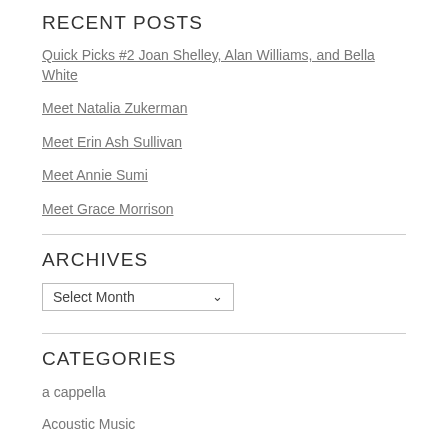RECENT POSTS
Quick Picks #2 Joan Shelley, Alan Williams, and Bella White
Meet Natalia Zukerman
Meet Erin Ash Sullivan
Meet Annie Sumi
Meet Grace Morrison
ARCHIVES
Select Month
CATEGORIES
a cappella
Acoustic Music